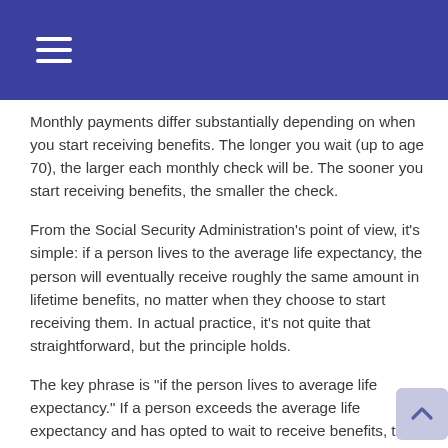Navigation menu header bar
Monthly payments differ substantially depending on when you start receiving benefits. The longer you wait (up to age 70), the larger each monthly check will be. The sooner you start receiving benefits, the smaller the check.
From the Social Security Administration’s point of view, it’s simple: if a person lives to the average life expectancy, the person will eventually receive roughly the same amount in lifetime benefits, no matter when they choose to start receiving them. In actual practice, it’s not quite that straightforward, but the principle holds.
The key phrase is “if the person lives to average life expectancy.” If a person exceeds the average life expectancy and has opted to wait to receive benefits, they will start to accumulate more from Social Security.